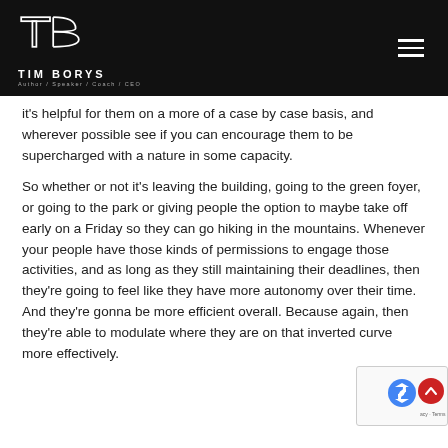TIM BORYS | Author / Speaker / Coach / CEO
it's helpful for them on a more of a case by case basis, and wherever possible see if you can encourage them to be supercharged with a nature in some capacity.
So whether or not it's leaving the building, going to the green foyer, or going to the park or giving people the option to maybe take off early on a Friday so they can go hiking in the mountains. Whenever your people have those kinds of permissions to engage those activities, and as long as they still maintaining their deadlines, then they're going to feel like they have more autonomy over their time. And they're gonna be more efficient overall. Because again, then they're able to modulate where they are on that inverted curve more effectively.